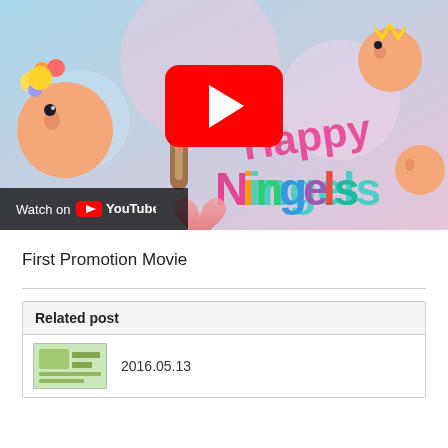[Figure (screenshot): YouTube video thumbnail for 'Happy Ningels First Promotion Movie' showing colorful cartoon characters on a pastel background with a YouTube play button overlay and 'Watch on YouTube' bar at the bottom left.]
First Promotion Movie
| Related post |
| --- |
| 2016.05.13 |
2016.05.13